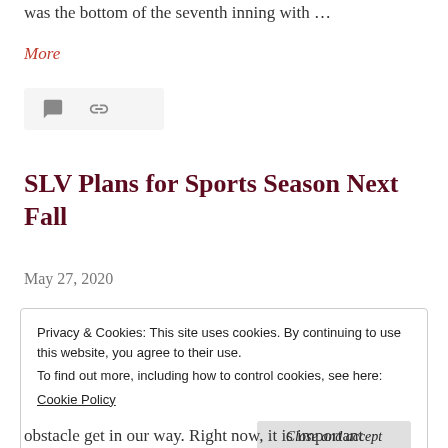was the bottom of the seventh inning with …
More
[Figure (other): Icon bar with comment bubble and link/chain icon on light grey background]
SLV Plans for Sports Season Next Fall
May 27, 2020
Privacy & Cookies: This site uses cookies. By continuing to use this website, you agree to their use.
To find out more, including how to control cookies, see here:
Cookie Policy
Close and accept
obstacle get in our way. Right now, it is important